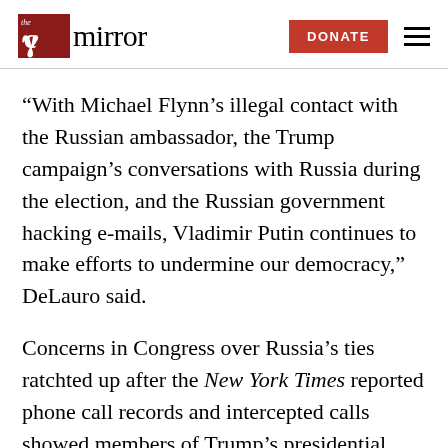The Mirror — DONATE
“With Michael Flynn’s illegal contact with the Russian ambassador, the Trump campaign’s conversations with Russia during the election, and the Russian government hacking e-mails, Vladimir Putin continues to make efforts to undermine our democracy,” DeLauro said.
Concerns in Congress over Russia’s ties ratchted up after the New York Times reported phone call records and intercepted calls showed members of Trump’s presidential